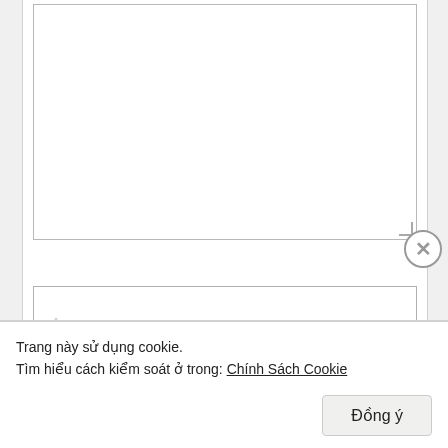[Figure (screenshot): Web form interface showing a large textarea input (empty), followed by a TÊN (name) text input field with asterisk required marker, and an EMAIL text input field with asterisk required marker. Below is a partially visible 'Quảng cáo' (Advertisement) label.]
TÊN *
EMAIL *
Quảng cáo
Trang này sử dụng cookie.
Tìm hiểu cách kiểm soát ở trong: Chính Sách Cookie
Đồng ý